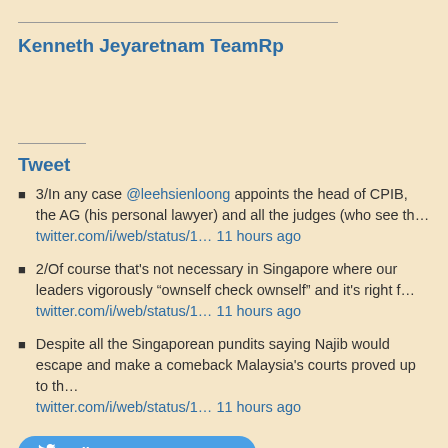Kenneth Jeyaretnam TeamRp
Tweet
3/In any case @leehsienloong appoints the head of CPIB, the AG (his personal lawyer) and all the judges (who see th… twitter.com/i/web/status/1… 11 hours ago
2/Of course that's not necessary in Singapore where our leaders vigorously “ownself check ownself” and it's right f… twitter.com/i/web/status/1… 11 hours ago
Despite all the Singaporean pundits saying Najib would escape and make a comeback Malaysia's courts proved up to th… twitter.com/i/web/status/1… 11 hours ago
Follow @KenJeyaretnam